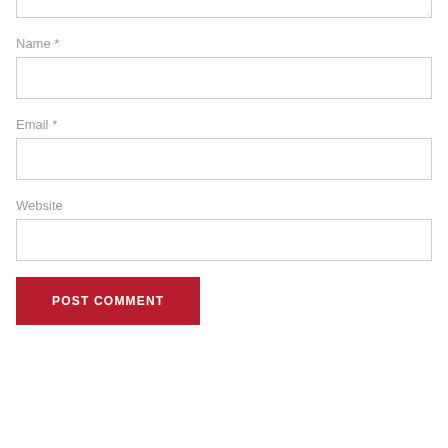[Figure (screenshot): Partial bottom edge of a textarea form field with resize handle]
Name *
[Figure (screenshot): Name text input field]
Email *
[Figure (screenshot): Email text input field]
Website
[Figure (screenshot): Website text input field]
[Figure (screenshot): POST COMMENT submit button in dark red]